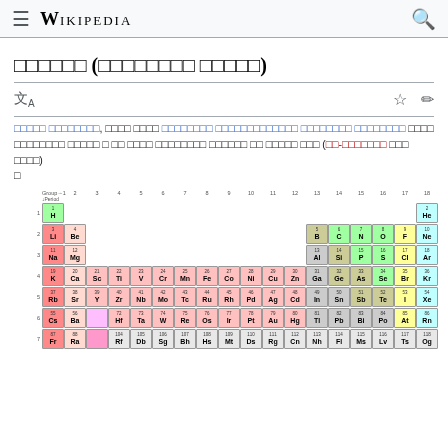Wikipedia
आवर्त सारणी (रासायनिक तत्त्व)
आवर्त सारणी, रसायन शास्त्र रासायनिक तत्त्वांची आवर्त सारणी के रूप में जानी जाती है। यह सभी ज्ञात तत्त्वों को उनके परमाणु क्रमांक के आधार पर व्यवस्थित करती है (अंतर्राष्ट्रीय मानक IUPAC के अनुसार)।
[Figure (other): Periodic table of elements showing groups 1-18 and periods 1-7 with color-coded element categories including alkali metals, alkaline earth metals, transition metals, metalloids, nonmetals, halogens, noble gases, lanthanides, and actinides]